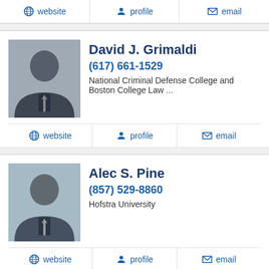website | profile | email
David J. Grimaldi
(617) 661-1529
National Criminal Defense College and Boston College Law ...
website | profile | email
Alec S. Pine
(857) 529-8860
Hofstra University
website | profile | email
SPONSORED LISTINGS